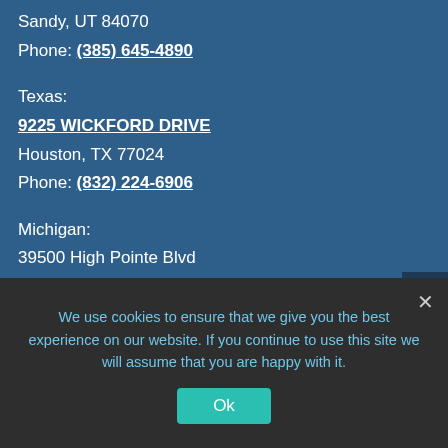Sandy, UT 84070
Phone: (385) 645-4890
Texas:
9225 WICKFORD DRIVE
Houston, TX 77024
Phone: (832) 224-6906
Michigan:
39500 High Pointe Blvd
Suite #400
Novi, MI 48375
Phone: (832) 224-6906
We use cookies to ensure that we give you the best experience on our website. If you continue to use this site we will assume that you are happy with it.